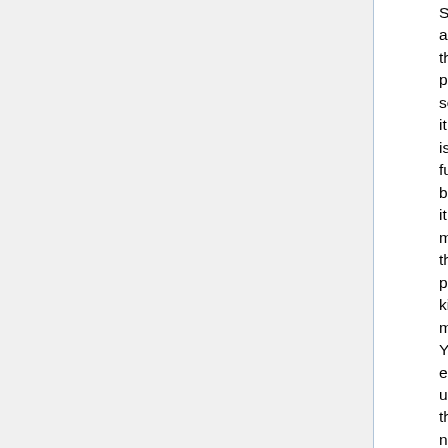Same as the previous section: it is functional, but it makes the preference kinda meaningless. You either use the new toolbar (and therefore Javascript) or you don't get to have previews at all. I don't think it's a good idea to force that sort of thing, especially if the Wiki still can do the old-style preview.
See above. In theory I think I have it working the way you suggest.
The other thing is that, at least on my Firefox 9, the Search textbox behaves very oddly. Putting the cursor on it causes a horizontal scrollbar to appear, which obscures most of the text you're trying to enter. Alfonse 18:52, 29 January